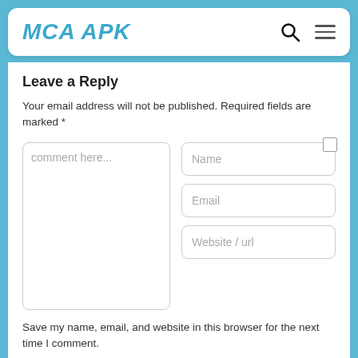MCA APK
Leave a Reply
Your email address will not be published. Required fields are marked *
[Figure (screenshot): Web comment form with comment textarea, Name, Email, Website/url input fields and a checkbox]
Save my name, email, and website in this browser for the next time I comment.
Post Comment